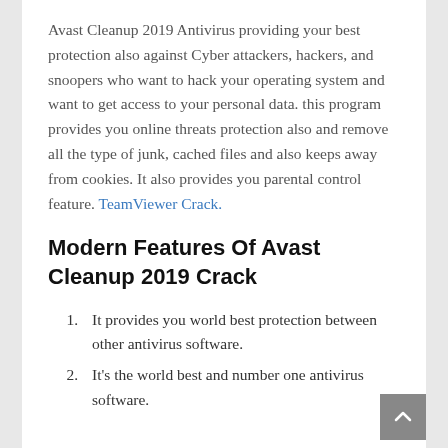Avast Cleanup 2019 Antivirus providing your best protection also against Cyber attackers, hackers, and snoopers who want to hack your operating system and want to get access to your personal data. this program provides you online threats protection also and remove all the type of junk, cached files and also keeps away from cookies. It also provides you parental control feature. TeamViewer Crack.
Modern Features Of Avast Cleanup 2019 Crack
It provides you world best protection between other antivirus software.
It's the world best and number one antivirus software.